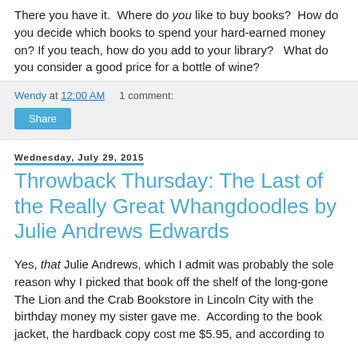There you have it.  Where do you like to buy books?  How do you decide which books to spend your hard-earned money on? If you teach, how do you add to your library?   What do you consider a good price for a bottle of wine?
Wendy at 12:00 AM    1 comment:
Share
Wednesday, July 29, 2015
Throwback Thursday: The Last of the Really Great Whangdoodles by Julie Andrews Edwards
Yes, that Julie Andrews, which I admit was probably the sole reason why I picked that book off the shelf of the long-gone The Lion and the Crab Bookstore in Lincoln City with the birthday money my sister gave me.  According to the book jacket, the hardback copy cost me $5.95, and according to